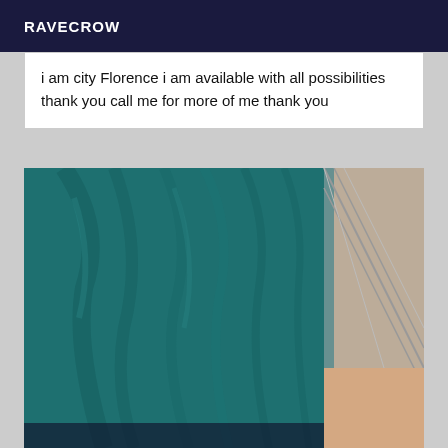RAVECROW
i am city Florence i am available with all possibilities thank you call me for more of me thank you
[Figure (photo): Close-up photo of a person wearing a teal/dark green tight fitted top or dress, showing torso area. Beige/tan background visible on the right side.]